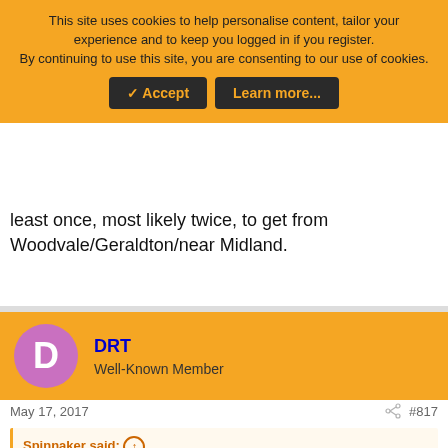This site uses cookies to help personalise content, tailor your experience and to keep you logged in if you register. By continuing to use this site, you are consenting to our use of cookies.
✓ Accept   Learn more...
least once, most likely twice, to get from Woodvale/Geraldton/near Midland.
DRT
Well-Known Member
May 17, 2017   #817
Spinnaker said: ↑
The father and de facto expected DA to return the car in a timely manner as mentioned below - does not seem like a planned trip to
[Figure (screenshot): Advertisement: Save Up to $100 on Brakes & Rotors at Virginia Tire & Auto]